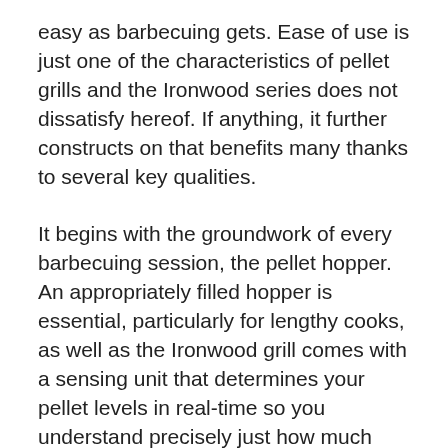easy as barbecuing gets. Ease of use is just one of the characteristics of pellet grills and the Ironwood series does not dissatisfy hereof. If anything, it further constructs on that benefits many thanks to several key qualities.
It begins with the groundwork of every barbecuing session, the pellet hopper. An appropriately filled hopper is essential, particularly for lengthy cooks, as well as the Ironwood grill comes with a sensing unit that determines your pellet levels in real-time so you understand precisely just how much you have left.
The Ironwood better increases down on the concept by including a mode that Traeger calls “Super Smoke.” This triggers the grill to pump